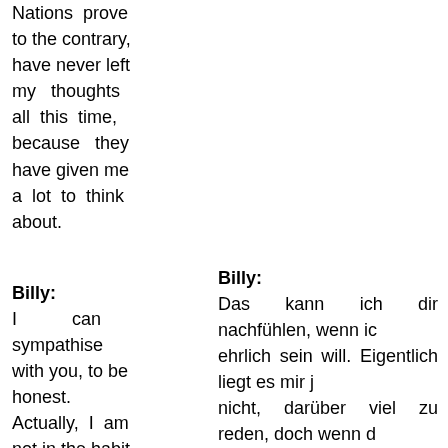Nations prove to the contrary, have never left my thoughts all this time, because they have given me a lot to think about.
Billy:
Billy:
I can sympathise with you, to be honest. Actually, I am not in the habit of talking about it much, but since you
Das kann ich dir nachfühlen, wenn ich ehrlich sein will. Eigentlich liegt es mir ja nicht, darüber viel zu reden, doch wenn du schon davon sprichst, dann muss ich gestehen, dass mich das Ganze viel gekostet hat, bis ich es gedanklich verdauen konnte. Dass es mir gleichermaßen gedanklich erging wie offenbar dir, das denke ich, war nur normal. Doch heute hab ich bei mir zu sagen, war nur etwas nein